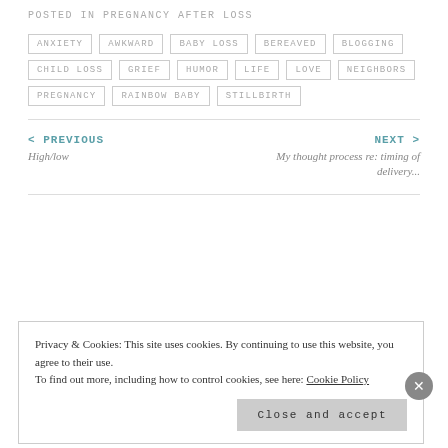POSTED IN PREGNANCY AFTER LOSS
ANXIETY
AWKWARD
BABY LOSS
BEREAVED
BLOGGING
CHILD LOSS
GRIEF
HUMOR
LIFE
LOVE
NEIGHBORS
PREGNANCY
RAINBOW BABY
STILLBIRTH
< PREVIOUS
High/low
NEXT >
My thought process re: timing of delivery...
Privacy & Cookies: This site uses cookies. By continuing to use this website, you agree to their use. To find out more, including how to control cookies, see here: Cookie Policy
Close and accept